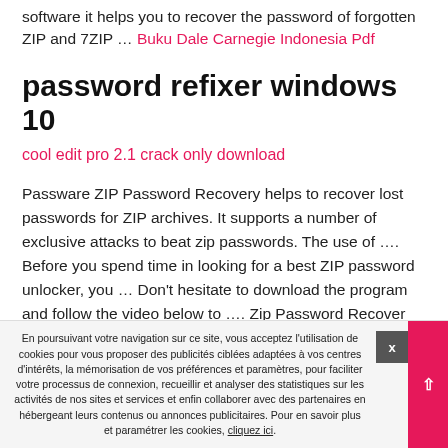software it helps you to recover the password of forgotten ZIP and 7ZIP … Buku Dale Carnegie Indonesia Pdf
password refixer windows 10
cool edit pro 2.1 crack only download
Passware ZIP Password Recovery helps to recover lost passwords for ZIP archives. It supports a number of exclusive attacks to beat zip passwords. The use of …. Before you spend time in looking for a best ZIP password unlocker, you … Don't hesitate to download the program and follow the video below to …. Zip Password Recover Crack software empowers you to get better the forgotten password for zipping (.zip) files
En poursuivant votre navigation sur ce site, vous acceptez l'utilisation de cookies pour vous proposer des publicités ciblées adaptées à vos centres d'intérêts, la mémorisation de vos préférences et paramètres, pour faciliter votre processus de connexion, recueillir et analyser des statistiques sur les activités de nos sites et services et enfin collaborer avec des partenaires en hébergeant leurs contenus ou annonces publicitaires. Pour en savoir plus et paramétrer les cookies, cliquez ici.